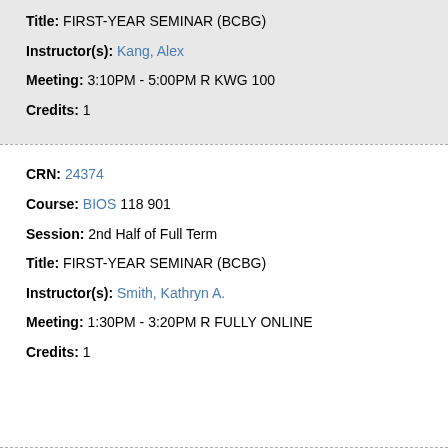Title: FIRST-YEAR SEMINAR (BCBG)
Instructor(s): Kang, Alex
Meeting: 3:10PM - 5:00PM R KWG 100
Credits: 1
CRN: 24374
Course: BIOS 118 901
Session: 2nd Half of Full Term
Title: FIRST-YEAR SEMINAR (BCBG)
Instructor(s): Smith, Kathryn A.
Meeting: 1:30PM - 3:20PM R FULLY ONLINE
Credits: 1